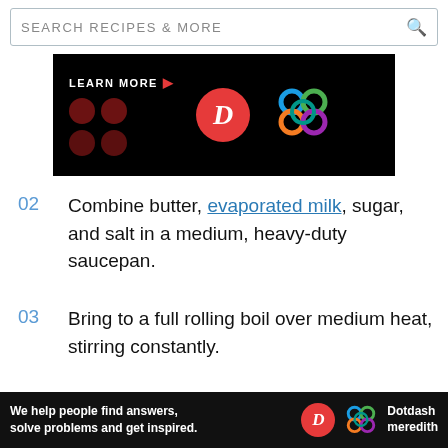SEARCH RECIPES & MORE
[Figure (screenshot): Black advertisement banner with dark red circles, LEARN MORE text with red arrow, red D logo circle, and colorful interlocking rings logo on black background]
02  Combine butter, evaporated milk, sugar, and salt in a medium, heavy-duty saucepan.
03  Bring to a full rolling boil over medium heat, stirring constantly.
04  Boil stirring constantly for 4 to 5 minutes
[Figure (screenshot): Dotdash Meredith advertisement banner: 'We help people find answers, solve problems and get inspired.' with D logo and colorful rings logo]